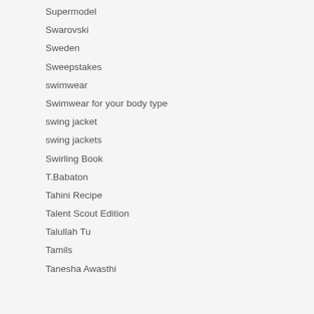Supermodel
Swarovski
Sweden
Sweepstakes
swimwear
Swimwear for your body type
swing jacket
swing jackets
Swirling Book
T.Babaton
Tahini Recipe
Talent Scout Edition
Talullah Tu
Tamils
Tanesha Awasthi